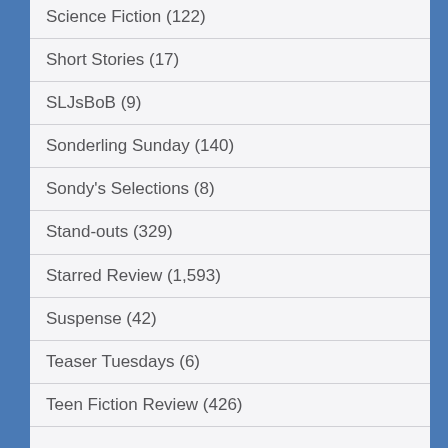Science Fiction (122)
Short Stories (17)
SLJsBoB (9)
Sonderling Sunday (140)
Sondy's Selections (8)
Stand-outs (329)
Starred Review (1,593)
Suspense (42)
Teaser Tuesdays (6)
Teen Fiction Review (426)